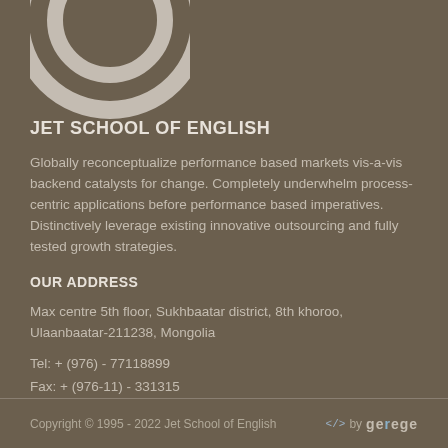[Figure (logo): Circular logo/icon partially visible at the top of the page, showing a circle within a circle design in light cream/white color on brown background]
JET SCHOOL OF ENGLISH
Globally reconceptualize performance based markets vis-a-vis backend catalysts for change. Completely underwhelm process-centric applications before performance based imperatives. Distinctively leverage existing innovative outsourcing and fully tested growth strategies.
OUR ADDRESS
Max centre 5th floor, Sukhbaatar district, 8th khoroo, Ulaanbaatar-211238, Mongolia
Tel: + (976) - 77118899
Fax: + (976-11) - 331315
Copyright © 1995 - 2022 Jet School of English   </> by gerege